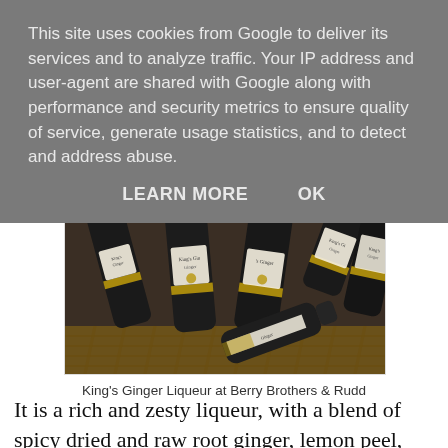This site uses cookies from Google to deliver its services and to analyze traffic. Your IP address and user-agent are shared with Google along with performance and security metrics to ensure quality of service, generate usage statistics, and to detect and address abuse.
LEARN MORE    OK
[Figure (photo): Multiple bottles of King's Ginger Liqueur arranged in a basket, showing dark glass bottles with cream-colored labels reading 'King's Ginger']
King's Ginger Liqueur at Berry Brothers & Rudd
It is a rich and zesty liqueur, with a blend of spicy dried and raw root ginger, lemon peel, with aromas of sherbet and golden syrup, and a warming, long finish. It also makes a great base for a cocktail, as in The King's Fizz, with one part of The King's Ginger to four parts of Champagne or sparkling wine, or The King's Tonic